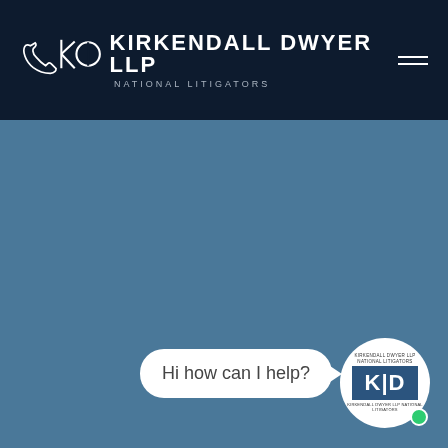[Figure (logo): Kirkendall Dwyer LLP law firm website header with phone icon, KD logo mark, firm name KIRKENDALL DWYER LLP, tagline NATIONAL LITIGATORS, and hamburger menu icon on dark navy background]
[Figure (screenshot): Blue-grey website background area with a live chat widget showing a speech bubble saying 'Hi how can I help?' and an avatar circle with KD logo and green online indicator dot]
Hi how can I help?